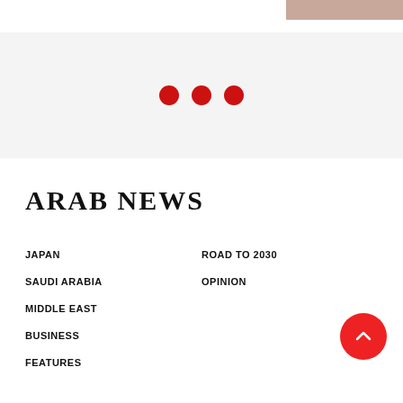[Figure (photo): Partial image visible at top right corner]
[Figure (infographic): Three red loading dots on light grey background]
ARAB NEWS
JAPAN
ROAD TO 2030
SAUDI ARABIA
OPINION
MIDDLE EAST
BUSINESS
FEATURES